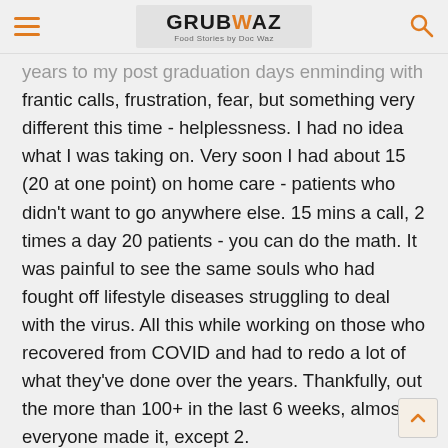GRUBWAZ — Food Stories by Doc Waz
years to my post graduation days enminding with frantic calls, frustration, fear, but something very different this time - helplessness. I had no idea what I was taking on. Very soon I had about 15 (20 at one point) on home care - patients who didn't want to go anywhere else. 15 mins a call, 2 times a day 20 patients - you can do the math. It was painful to see the same souls who had fought off lifestyle diseases struggling to deal with the virus. All this while working on those who recovered from COVID and had to redo a lot of what they've done over the years. Thankfully, out the more than 100+ in the last 6 weeks, almost everyone made it, except 2.
And suddenly, there was no time for the little things